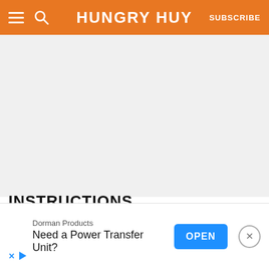HUNGRY HUY | SUBSCRIBE
[Figure (photo): Large image area (light gray placeholder) below the header, occupying most of the page vertical space]
INSTRUCTIONS
Marinade: Combine chicken and marinade ingredients, and let it sit to marinate for 15
Dorman Products
Need a Power Transfer Unit?   OPEN